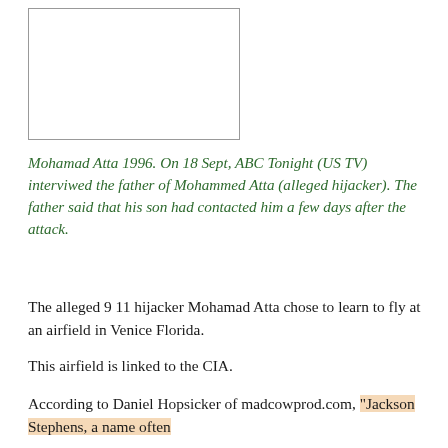[Figure (photo): Photograph placeholder — image of Mohamad Atta 1996]
Mohamad Atta 1996. On 18 Sept, ABC Tonight (US TV) interviwed the father of Mohammed Atta (alleged hijacker). The father said that his son had contacted him a few days after the attack.
The alleged 9 11 hijacker Mohamad Atta chose to learn to fly at an airfield in Venice Florida.
This airfield is linked to the CIA.
According to Daniel Hopsicker of madcowprod.com, "Jackson Stephens, a name often